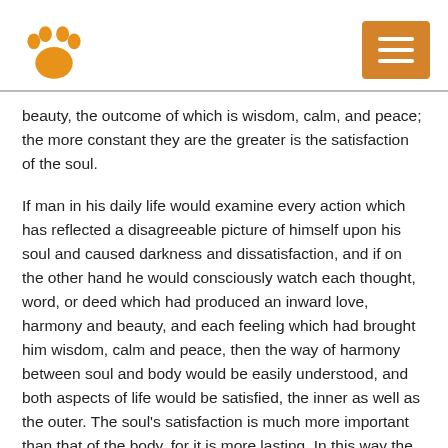[paw logo] [menu button]
beauty, the outcome of which is wisdom, calm, and peace; the more constant they are the greater is the satisfaction of the soul.
If man in his daily life would examine every action which has reflected a disagreeable picture of himself upon his soul and caused darkness and dissatisfaction, and if on the other hand he would consciously watch each thought, word, or deed which had produced an inward love, harmony and beauty, and each feeling which had brought him wisdom, calm and peace, then the way of harmony between soul and body would be easily understood, and both aspects of life would be satisfied, the inner as well as the outer. The soul's satisfaction is much more important than that of the body, for it is more lasting. In this way the thought, speech